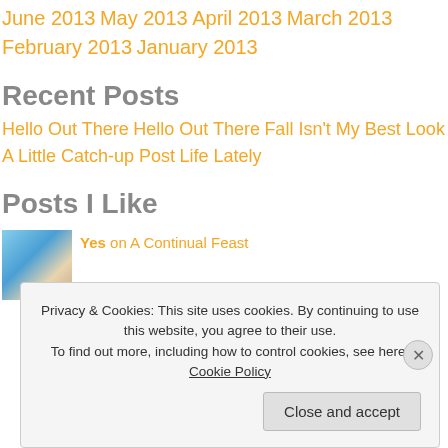June 2013
May 2013
April 2013
March 2013
February 2013
January 2013
Recent Posts
Hello Out There
Hello Out There
Fall Isn't My Best Look
A Little Catch-up Post
Life Lately
Posts I Like
Yes on A Continual Feast
Privacy & Cookies: This site uses cookies. By continuing to use this website, you agree to their use. To find out more, including how to control cookies, see here: Cookie Policy
Close and accept